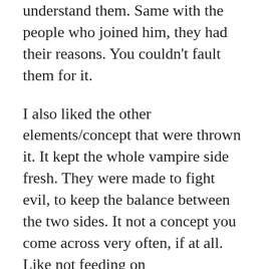understand them. Same with the people who joined him, they had their reasons. You couldn't fault them for it.
I also liked the other elements/concept that were thrown it. It kept the whole vampire side fresh. They were made to fight evil, to keep the balance between the two sides. It not a concept you come across very often, if at all. Like not feeding on humans/changing anyone you liked, isn't a very common used vampire concept. A lot wasn't explained straight away, you had to figure it all out at the same pace as the main character. I did feel however that some things could have been explained better, it seemed to jump a bit too much. One second it was on about one thing then it flipped to another thing. It made figuring out